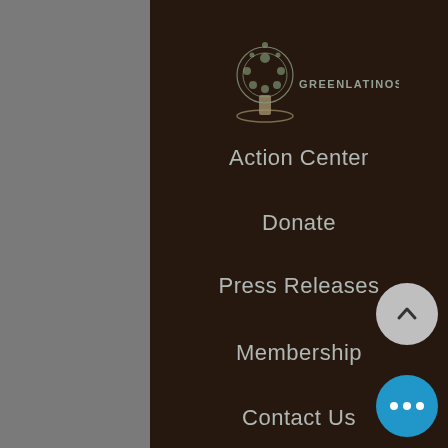[Figure (logo): GreenLatinos logo — decorative tree illustration with 'GREENLATINOS' text]
Action Center
Donate
Press Releases
Membership
Contact Us